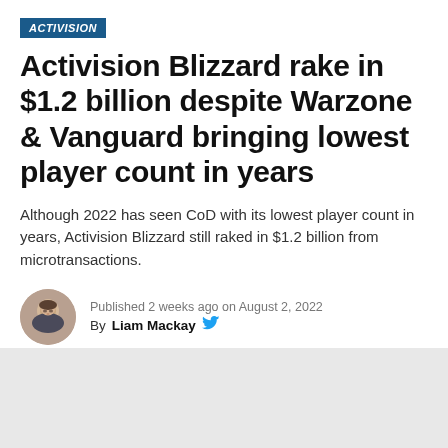ACTIVISION
Activision Blizzard rake in $1.2 billion despite Warzone & Vanguard bringing lowest player count in years
Although 2022 has seen CoD with its lowest player count in years, Activision Blizzard still raked in $1.2 billion from microtransactions.
Published 2 weeks ago on August 2, 2022
By Liam Mackay